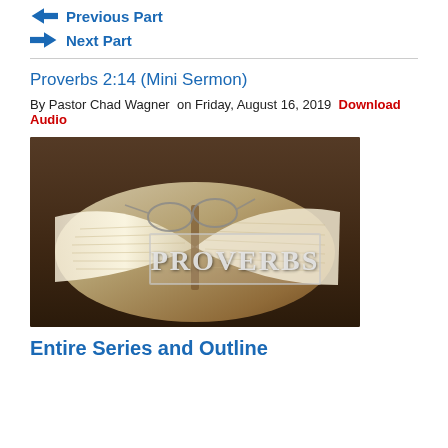Previous Part
Next Part
Proverbs 2:14 (Mini Sermon)
By Pastor Chad Wagner on Friday, August 16, 2019 Download Audio
[Figure (photo): Open Bible with reading glasses resting on it, on a wooden table, with the word PROVERBS overlaid in a semi-transparent white box]
Entire Series and Outline